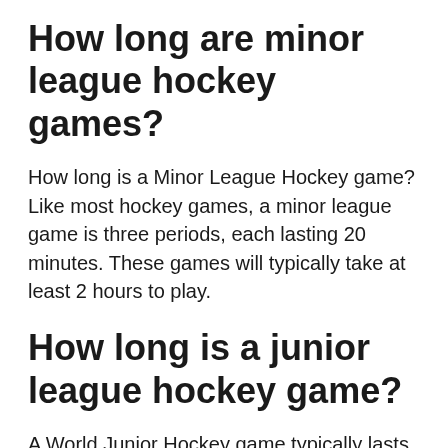How long are minor league hockey games?
How long is a Minor League Hockey game? Like most hockey games, a minor league game is three periods, each lasting 20 minutes. These games will typically take at least 2 hours to play.
How long is a junior league hockey game?
A World Junior Hockey game typically lasts between two and a half to three hours. However, the official game includes only three twenty-minute periods. Intermissions, stoppages for penalties, mandatory breaks